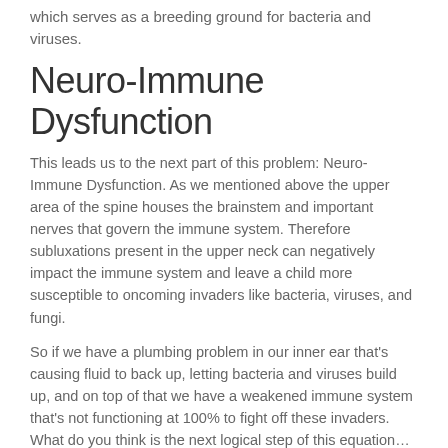which serves as a breeding ground for bacteria and viruses.
Neuro-Immune Dysfunction
This leads us to the next part of this problem: Neuro-Immune Dysfunction. As we mentioned above the upper area of the spine houses the brainstem and important nerves that govern the immune system. Therefore subluxations present in the upper neck can negatively impact the immune system and leave a child more susceptible to oncoming invaders like bacteria, viruses, and fungi.
So if we have a plumbing problem in our inner ear that’s causing fluid to back up, letting bacteria and viruses build up, and on top of that we have a weakened immune system that’s not functioning at 100% to fight off these invaders. What do you think is the next logical step of this equation…
AN EAR INFECTION!
This another reason why antibiotics have had very minimal success on ear infections, thus allowing for ear infections to recur and become chronic. It’s not addressing the REAL PROBLEM.
Inflammation From Diet